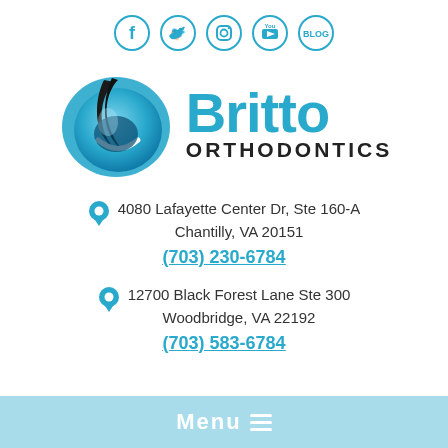[Figure (infographic): Social media icons: Facebook, Twitter, Instagram, YouTube, Blog in blue circles]
[Figure (logo): Britto Orthodontics logo with blue swirl B icon and text Britto ORTHODONTICS]
4080 Lafayette Center Dr, Ste 160-A Chantilly, VA 20151
(703) 230-6784
12700 Black Forest Lane Ste 300 Woodbridge, VA 22192
(703) 583-6784
Menu